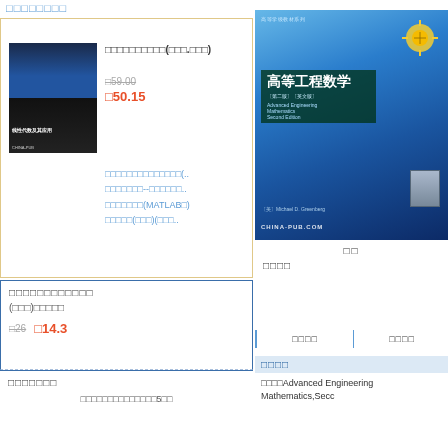□□□□□□□□
[Figure (photo): Book cover for linear algebra textbook with dark blue and teal design]
□□□□□□□□□□(□□□.□□□)
□59.00
□50.15
□□□□□□□□□□□□(..
□□□□□□--□□□□□□..
□□□□□□□(MATLAB□)
□□□□□(□□□)(□□□..
□□□□□□□□□□□□
(□□□)□□□□□
□26
□14.3
□□□□□□□
□□□□□□□□□□□□□□5□□
[Figure (photo): Book cover for 高等工程数学 (Advanced Engineering Mathematics, Second Edition) in Chinese and English, blue geometric design with sun/globe graphic, CHINA-PUB.COM watermark]
□□
□□□□
□□□□
□□□□
□□□□
□□□□Advanced Engineering Mathematics,Secc